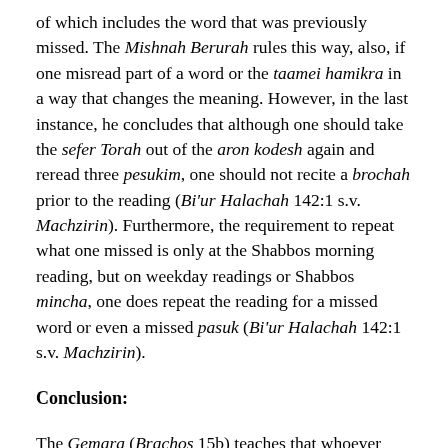of which includes the word that was previously missed. The Mishnah Berurah rules this way, also, if one misread part of a word or the taamei hamikra in a way that changes the meaning. However, in the last instance, he concludes that although one should take the sefer Torah out of the aron kodesh again and reread three pesukim, one should not recite a brochah prior to the reading (Bi'ur Halachah 142:1 s.v. Machzirin). Furthermore, the requirement to repeat what one missed is only at the Shabbos morning reading, but on weekday readings or Shabbos mincha, one does repeat the reading for a missed word or even a missed pasuk (Bi'ur Halachah 142:1 s.v. Machzirin).
Conclusion:
The Gemara (Brachos 15b) teaches that whoever reads Shma and is meticulously careful about